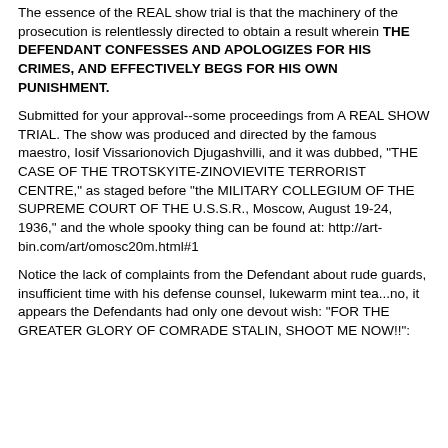The essence of the REAL show trial is that the machinery of the prosecution is relentlessly directed to obtain a result wherein THE DEFENDANT CONFESSES AND APOLOGIZES FOR HIS CRIMES, AND EFFECTIVELY BEGS FOR HIS OWN PUNISHMENT.
Submitted for your approval--some proceedings from A REAL SHOW TRIAL. The show was produced and directed by the famous maestro, Iosif Vissarionovich Djugashvilli, and it was dubbed, "THE CASE OF THE TROTSKYITE-ZINOVIEVITE TERRORIST CENTRE," as staged before "the MILITARY COLLEGIUM OF THE SUPREME COURT OF THE U.S.S.R., Moscow, August 19-24, 1936," and the whole spooky thing can be found at: http://art-bin.com/art/omosc20m.html#1
Notice the lack of complaints from the Defendant about rude guards, insufficient time with his defense counsel, lukewarm mint tea...no, it appears the Defendants had only one devout wish: "FOR THE GREATER GLORY OF COMRADE STALIN, SHOOT ME NOW!!";